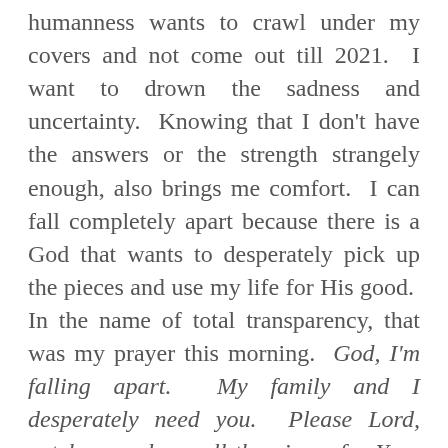humanness wants to crawl under my covers and not come out till 2021. I want to drown the sadness and uncertainty. Knowing that I don't have the answers or the strength strangely enough, also brings me comfort. I can fall completely apart because there is a God that wants to desperately pick up the pieces and use my life for His good. In the name of total transparency, that was my prayer this morning. God, I'm falling apart. My family and I desperately need you. Please Lord, catch us and use all the pieces for Your good. I trust that Your plan is better than mine.